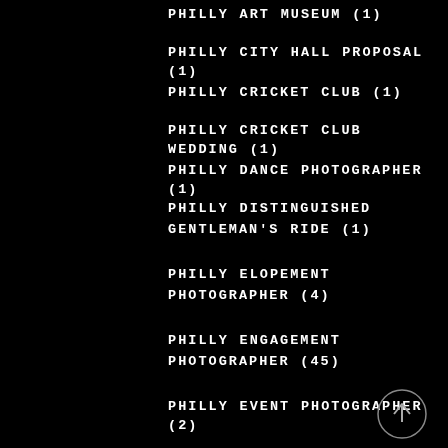PHILLY ART MUSEUM (1)
PHILLY CITY HALL PROPOSAL (1)
PHILLY CRICKET CLUB (1)
PHILLY CRICKET CLUB WEDDING (1)
PHILLY DANCE PHOTOGRAPHER (1)
PHILLY DISTINGUISHED GENTLEMAN'S RIDE (1)
PHILLY ELOPEMENT PHOTOGRAPHER (4)
PHILLY ENGAGEMENT PHOTOGRAPHER (45)
PHILLY EVENT PHOTOGRAPHER (2)
PHILLY FAMILY PHOTOGRAPHER (9)
PHILLY HEADSHOT PHOTOGRAPHER (3)
PHILLY MATERNITY PHOTOGRAPHER